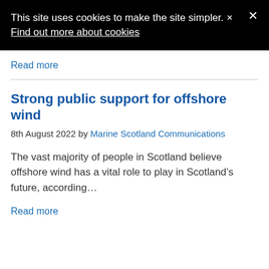This site uses cookies to make the site simpler. Find out more about cookies
Read more
Strong public support for offshore wind
8th August 2022 by Marine Scotland Communications
The vast majority of people in Scotland believe offshore wind has a vital role to play in Scotland’s future, according…
Read more